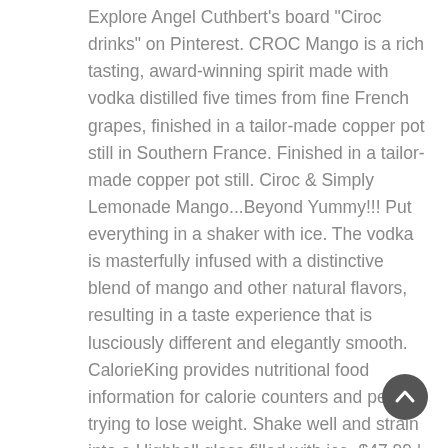Explore Angel Cuthbert's board "Ciroc drinks" on Pinterest. CROC Mango is a rich tasting, award-winning spirit made with vodka distilled five times from fine French grapes, finished in a tailor-made copper pot still in Southern France. Finished in a tailor-made copper pot still. Ciroc & Simply Lemonade Mango...Beyond Yummy!!! Put everything in a shaker with ice. The vodka is masterfully infused with a distinctive blend of mango and other natural flavors, resulting in a taste experience that is lusciously different and elegantly smooth. CalorieKing provides nutritional food information for calorie counters and people trying to lose weight. Shake well and strain into a Highball glass filled with ice. $47.99 | France | 750 ml | A sensory delight, C ROC Mango is a tropical fruit flavour. Shake well, strain into a class, then garnish with an orange peel. The taste of juicy Carabao mango combines with â€¦ Liquor Drinks Cocktail Drinks Beverages Cocktail Recipes Winter Drinks